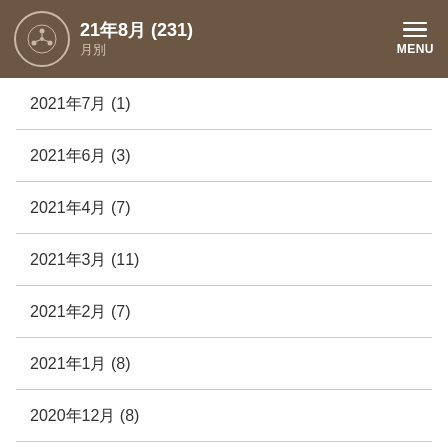21年8月 (231) 月別
2021年7月 (1)
2021年6月 (3)
2021年4月 (7)
2021年3月 (11)
2021年2月 (7)
2021年1月 (8)
2020年12月 (8)
2020年11月 (9)
2020年10月 (6)
2020年9月 (12)